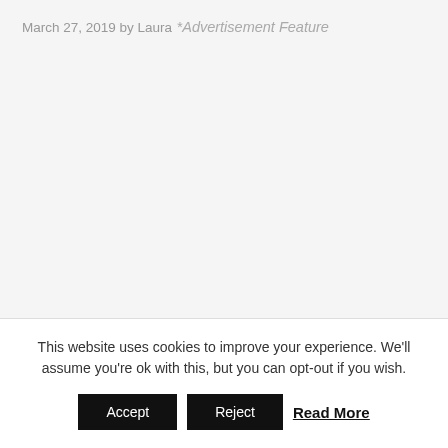March 27, 2019 by Laura
*Advertisement Feature
This website uses cookies to improve your experience. We'll assume you're ok with this, but you can opt-out if you wish.
Accept   Reject   Read More